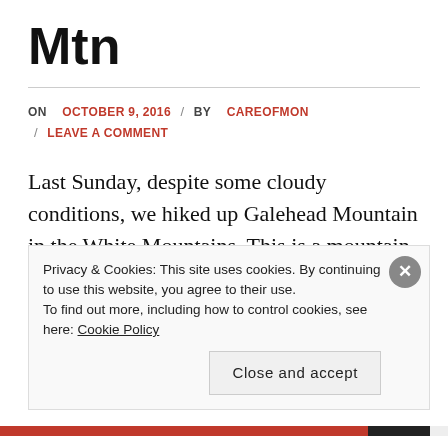Mtn
ON OCTOBER 9, 2016 / BY CAREOFMON / LEAVE A COMMENT
Last Sunday, despite some cloudy conditions, we hiked up Galehead Mountain in the White Mountains. This is a mountain that I have already done in July last year, but my sister and a friend needed it for their 48. Our friend brought his dog, Marshall, and this was his first
Privacy & Cookies: This site uses cookies. By continuing to use this website, you agree to their use.
To find out more, including how to control cookies, see here: Cookie Policy
Close and accept